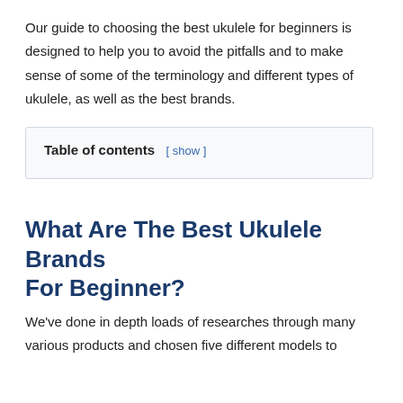Our guide to choosing the best ukulele for beginners is designed to help you to avoid the pitfalls and to make sense of some of the terminology and different types of ukulele, as well as the best brands.
| Table of contents |
| --- |
| [ show ] |
What Are The Best Ukulele Brands For Beginner?
We've done in depth loads of researches through many various products and chosen five different models to